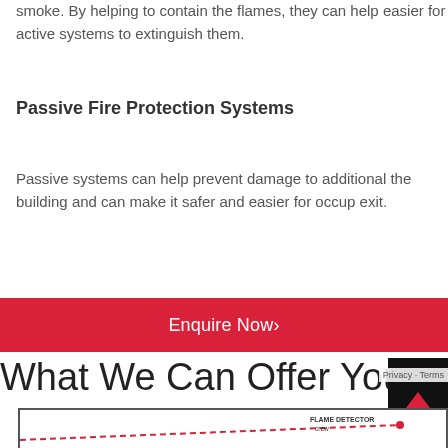smoke. By helping to contain the flames, they can help easier for active systems to extinguish them.
Passive Fire Protection Systems
Passive systems can help prevent damage to additional the building and can make it safer and easier for occup exit.
Enquire Now›
What We Can Offer You also
[Figure (engineering-diagram): Flame detector diagram with dashed red line labeled FLAME DETECTOR and crew label]